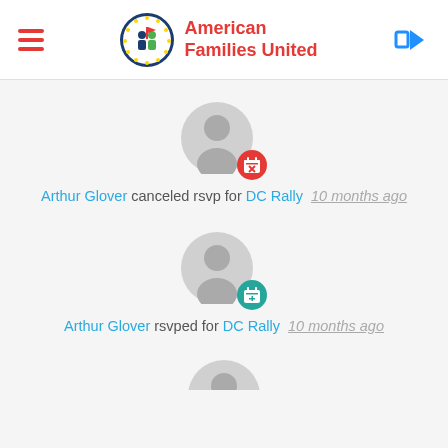American Families United
[Figure (screenshot): Activity feed showing user avatar with red calendar X badge and teal calendar + badge]
Arthur Glover canceled rsvp for DC Rally  10 months ago
Arthur Glover rsvped for DC Rally  10 months ago